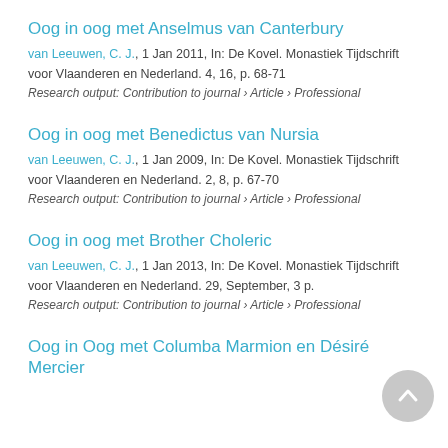Oog in oog met Anselmus van Canterbury
van Leeuwen, C. J., 1 Jan 2011, In: De Kovel. Monastiek Tijdschrift voor Vlaanderen en Nederland. 4, 16, p. 68-71
Research output: Contribution to journal › Article › Professional
Oog in oog met Benedictus van Nursia
van Leeuwen, C. J., 1 Jan 2009, In: De Kovel. Monastiek Tijdschrift voor Vlaanderen en Nederland. 2, 8, p. 67-70
Research output: Contribution to journal › Article › Professional
Oog in oog met Brother Choleric
van Leeuwen, C. J., 1 Jan 2013, In: De Kovel. Monastiek Tijdschrift voor Vlaanderen en Nederland. 29, September, 3 p.
Research output: Contribution to journal › Article › Professional
Oog in Oog met Columba Marmion en Désiré Mercier